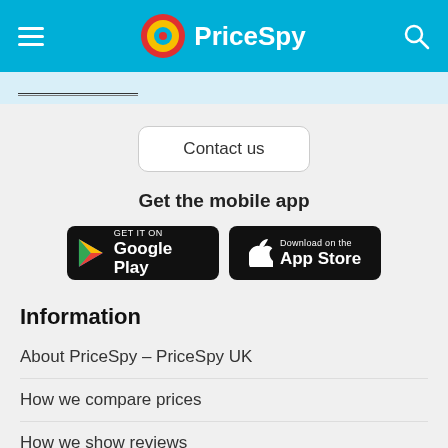PriceSpy
Contact us
Get the mobile app
[Figure (logo): Google Play store button]
[Figure (logo): Apple App Store button]
Information
About PriceSpy – PriceSpy UK
How we compare prices
How we show reviews
Contact – PriceSpy UK
Register and feature your shop